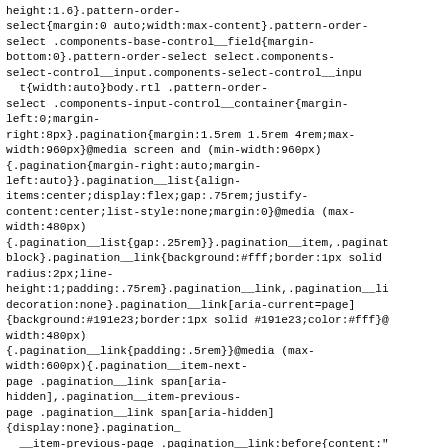height:1.6}.pattern-order-select{margin:0 auto;width:max-content}.pattern-order-select .components-base-control__field{margin-bottom:0}.pattern-order-select select.components-select-control__input.components-select-control__inpu t{width:auto}body.rtl .pattern-order-select .components-input-control__container{margin-left:0;margin-right:8px}.pagination{margin:1.5rem 1.5rem 4rem;max-width:960px}@media screen and (min-width:960px){.pagination{margin-right:auto;margin-left:auto}}.pagination__list{align-items:center;display:flex;gap:.75rem;justify-content:center;list-style:none;margin:0}@media (max-width:480px){.pagination__list{gap:.25rem}}.pagination__item,.paginat block}.pagination__link{background:#fff;border:1px solid radius:2px;line-height:1;padding:.75rem}.pagination__link,.pagination__li decoration:none}.pagination__link[aria-current=page]{background:#191e23;border:1px solid #191e23;color:#fff}@ width:480px){.pagination__link{padding:.5rem}}@media (max-width:600px){.pagination__item-next-page .pagination__link span[aria-hidden],.pagination__item-previous-page .pagination__link span[aria-hidden]{display:none}.pagination___item-previous-page .pagination__link:before{content:"<"}.pagination__item-next-page .pagination__link:before{content:">"}.pattern